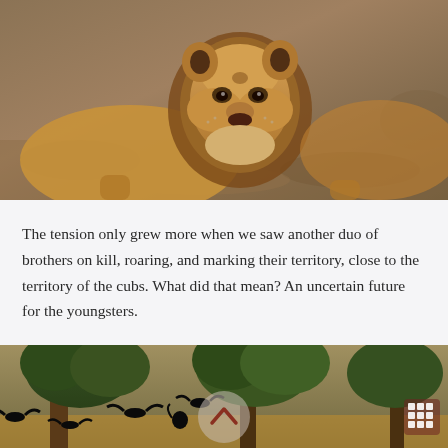[Figure (photo): Close-up photograph of a young male lion looking down toward the camera, with a sparse mane, set against a dry brown savanna background.]
The tension only grew more when we saw another duo of brothers on kill, roaring, and marking their territory, close to the territory of the cubs. What did that mean? An uncertain future for the youngsters.
[Figure (photo): Photograph of large baobab or acacia trees with dark birds (cormorants or similar) flying and perching among the branches in warm evening light.]